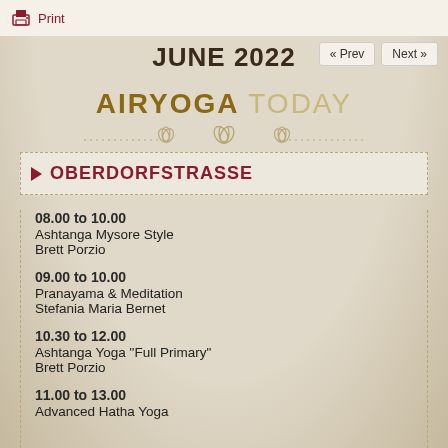Print
JUNE 2022
AIRYOGA TODAY
OBERDORFSTRASSE
08.00 to 10.00
Ashtanga Mysore Style
Brett Porzio
09.00 to 10.00
Pranayama & Meditation
Stefania Maria Bernet
10.30 to 12.00
Ashtanga Yoga "Full Primary"
Brett Porzio
11.00 to 13.00
Advanced Hatha Yoga